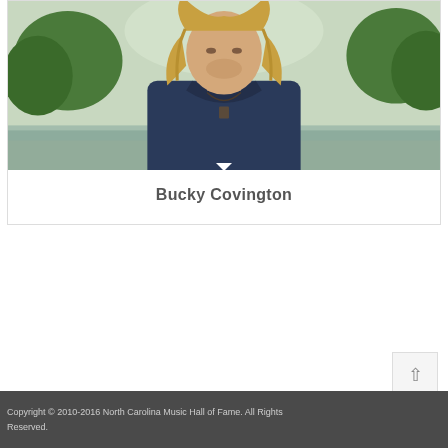[Figure (photo): Portrait photo of Bucky Covington, a man with long wavy blonde hair wearing a dark navy shirt with necklace, standing in front of a lake or river with green trees in the background.]
Bucky Covington
Copyright © 2010-2016 North Carolina Music Hall of Fame. All Rights Reserved.